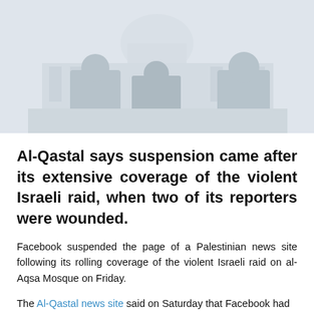[Figure (photo): Faded/washed-out photograph of people standing in front of Al-Aqsa Mosque (Dome of the Rock visible in background). Figures appear in silhouette-like style against a pale blue-grey sky.]
Al-Qastal says suspension came after its extensive coverage of the violent Israeli raid, when two of its reporters were wounded.
Facebook suspended the page of a Palestinian news site following its rolling coverage of the violent Israeli raid on al-Aqsa Mosque on Friday.
The Al-Qastal news site said on Saturday that Facebook had